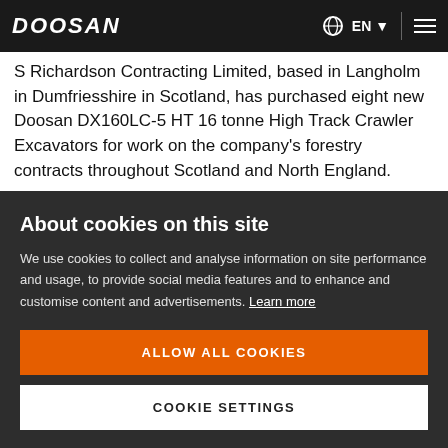DOOSAN | EN
S Richardson Contracting Limited, based in Langholm in Dumfriesshire in Scotland, has purchased eight new Doosan DX160LC-5 HT 16 tonne High Track Crawler Excavators for work on the company’s forestry contracts throughout Scotland and North England.
The new Doosan High Track Excavators are supplied b...
About cookies on this site
We use cookies to collect and analyse information on site performance and usage, to provide social media features and to enhance and customise content and advertisements. Learn more
ALLOW ALL COOKIES
COOKIE SETTINGS